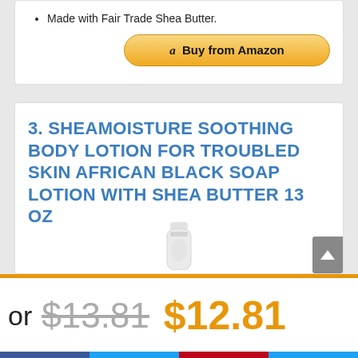Made with Fair Trade Shea Butter.
Buy from Amazon
3. SHEAMOISTURE SOOTHING BODY LOTION FOR TROUBLED SKIN AFRICAN BLACK SOAP LOTION WITH SHEA BUTTER 13 OZ
or $13.81 $12.81
[Figure (other): Social share bar with Facebook, Twitter, Pinterest, and Email icons]